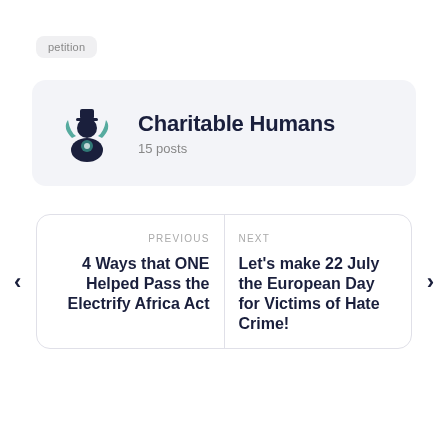petition
Charitable Humans
15 posts
PREVIOUS
4 Ways that ONE Helped Pass the Electrify Africa Act
NEXT
Let's make 22 July the European Day for Victims of Hate Crime!